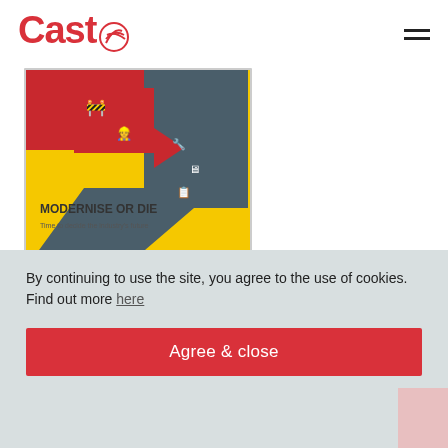Cast
[Figure (illustration): Book cover showing 'MODERNISE OR DIE - Time to decide the industry's future' with red and yellow graphic design, featuring arrows and construction worker icons on a dark teal background]
By continuing to use the site, you agree to the use of cookies. Find out more here
Agree & close